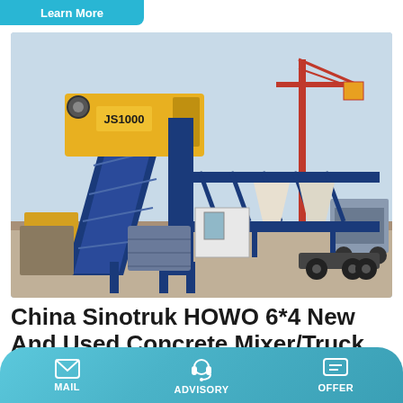Learn More
[Figure (photo): A large blue concrete batching plant / mixer machine labeled JS1000 on a construction site with cranes and equipment in the background.]
China Sinotruk HOWO 6*4 New And Used Concrete Mixer/Truck
Sinotruk HOWO 6*4 New and Used Concrete Mixer/Truck.
MAIL   ADVISORY   OFFER